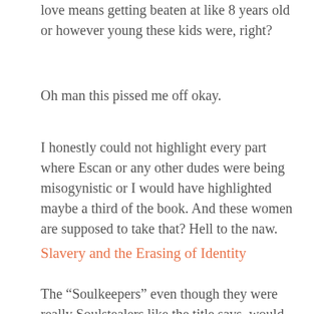love means getting beaten at like 8 years old or however young these kids were, right?
Oh man this pissed me off okay.
I honestly could not highlight every part where Escan or any other dudes were being misogynistic or I would have highlighted maybe a third of the book. And these women are supposed to take that? Hell to the naw.
Slavery and the Erasing of Identity
The “Soulkeepers” even though they were really Soulstealers like the title says, would have someone killed in order to be their soul familiar and provide a source for the magic that they would use. Arnaka’s soul familiar is Hannah, who actually was only referred to by Girl by those that weren’t her family, because she